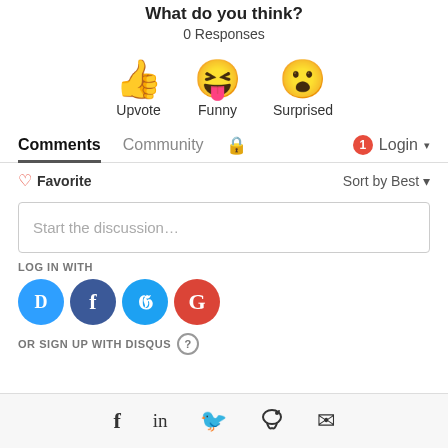What do you think?
0 Responses
[Figure (illustration): Three reaction emoji icons: thumbs up (Upvote), laughing face with tongue (Funny), surprised face (Surprised)]
Comments  Community  🔒  1  Login
♡ Favorite   Sort by Best ▾
Start the discussion…
LOG IN WITH
[Figure (illustration): Social login icons: Disqus (blue), Facebook (dark blue), Twitter (light blue), Google (red)]
OR SIGN UP WITH DISQUS ?
f  in  🐦  reddit  ✉